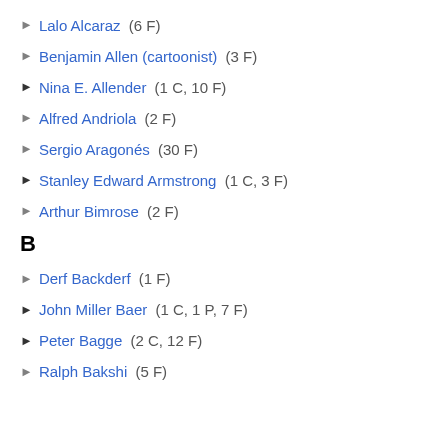Lalo Alcaraz (6 F)
Benjamin Allen (cartoonist) (3 F)
Nina E. Allender (1 C, 10 F)
Alfred Andriola (2 F)
Sergio Aragonés (30 F)
Stanley Edward Armstrong (1 C, 3 F)
Arthur Bimrose (2 F)
B
Derf Backderf (1 F)
John Miller Baer (1 C, 1 P, 7 F)
Peter Bagge (2 C, 12 F)
Ralph Bakshi (5 F)